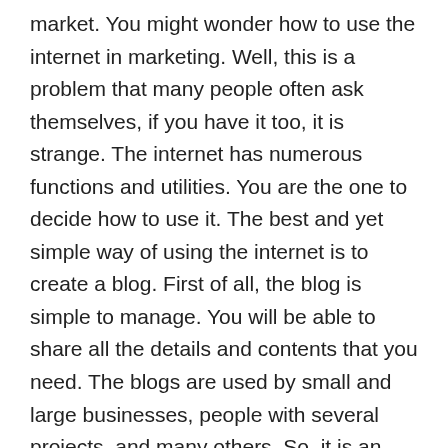market. You might wonder how to use the internet in marketing. Well, this is a problem that many people often ask themselves, if you have it too, it is strange. The internet has numerous functions and utilities. You are the one to decide how to use it. The best and yet simple way of using the internet is to create a blog. First of all, the blog is simple to manage. You will be able to share all the details and contents that you need. The blogs are used by small and large businesses, people with several projects, and many others. So, it is an important decision for you to create and own your own blog. Running a blog, however, is an endeavor that will take your time. You will need time to prepare your content, write it, and then post it online. For folks who are often busy, you will find that managing their blogs is hard. If that is the same problem that you are facing, then read on to understand how you will find the solution.